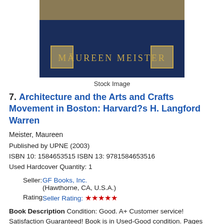[Figure (photo): Book cover with dark navy blue background showing 'MAUREEN MEISTER' text in gold letters with ornamental squares on each side and a decorative top strip]
Stock Image
7. Architecture and the Arts and Crafts Movement in Boston: Harvard?s H. Langford Warren
Meister, Maureen
Published by UPNE (2003)
ISBN 10: 1584653515 ISBN 13: 9781584653516
Used Hardcover Quantity: 1
Seller: GF Books, Inc.
(Hawthorne, CA, U.S.A.)
Rating: Seller Rating: ★★★★★
Book Description Condition: Good. A+ Customer service! Satisfaction Guaranteed! Book is in Used-Good condition. Pages and cover are clean and intact. Used items may not